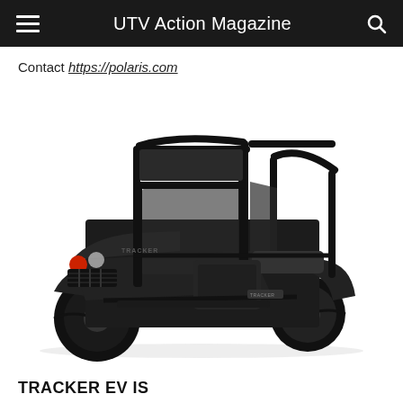UTV Action Magazine
Contact https://polaris.com
[Figure (photo): Black Tracker EV IS UTV/side-by-side vehicle photographed on white background, showing full vehicle from front-left angle with roll cage, knobby tires, and bed area]
TRACKER EV IS